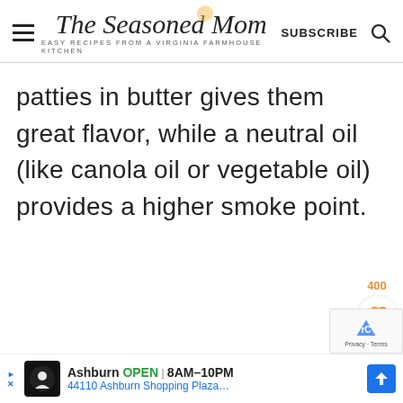The Seasoned Mom — EASY RECIPES FROM A VIRGINIA FARMHOUSE KITCHEN — SUBSCRIBE
patties in butter gives them great flavor, while a neutral oil (like canola oil or vegetable oil) provides a higher smoke point.
[Figure (screenshot): Advertisement bar at bottom: Ashburn OPEN 8AM–10PM, 44110 Ashburn Shopping Plaza...]
400 (save count)